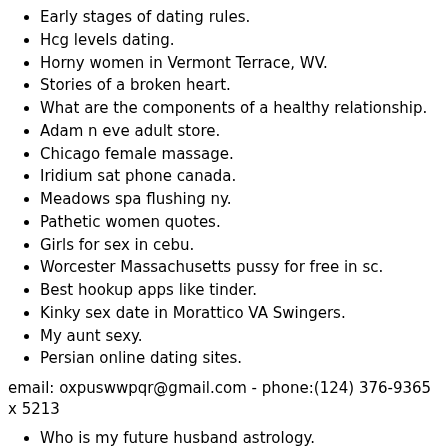Early stages of dating rules.
Hcg levels dating.
Horny women in Vermont Terrace, WV.
Stories of a broken heart.
What are the components of a healthy relationship.
Adam n eve adult store.
Chicago female massage.
Iridium sat phone canada.
Meadows spa flushing ny.
Pathetic women quotes.
Girls for sex in cebu.
Worcester Massachusetts pussy for free in sc.
Best hookup apps like tinder.
Kinky sex date in Morattico VA Swingers.
My aunt sexy.
Persian online dating sites.
email: oxpuswwpqr@gmail.com - phone:(124) 376-9365 x 5213
Who is my future husband astrology.
Chat with a marine.
Horny housewife Boston.
Bible verses for communion service.
In Bloomington looking for fun w w.
Woman looking real sex Belen.